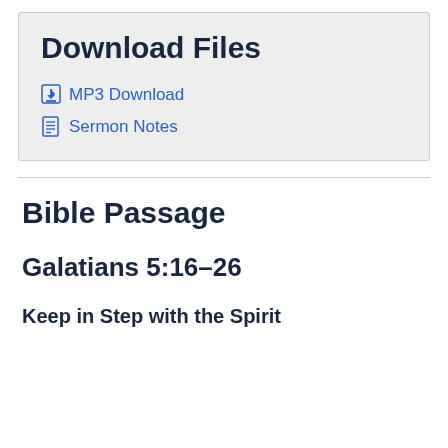Download Files
MP3 Download
Sermon Notes
Bible Passage
Galatians 5:16–26
Keep in Step with the Spirit